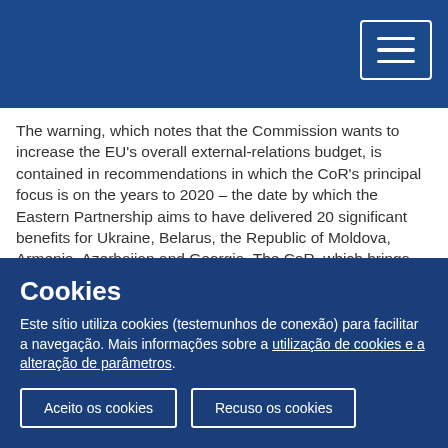The warning, which notes that the Commission wants to increase the EU's overall external-relations budget, is contained in recommendations in which the CoR's principal focus is on the years to 2020 – the date by which the Eastern Partnership aims to have delivered 20 significant benefits for Ukraine, Belarus, the Republic of Moldova, Armenia, Azerbaijan and Georgia. The CoR, which brings together local and regional politicians from across the EU, emphasised that cities and regions could play a "decisive role" in achieving the 2020 objectives. However, the CoR's recommendations highlight areas in which more grassroots work is needed and identifies specific tools that would help.
Cookies
Este sítio utiliza cookies (testemunhos de conexão) para facilitar a navegação. Mais informações sobre a utilização de cookies e a alteração de parâmetros.